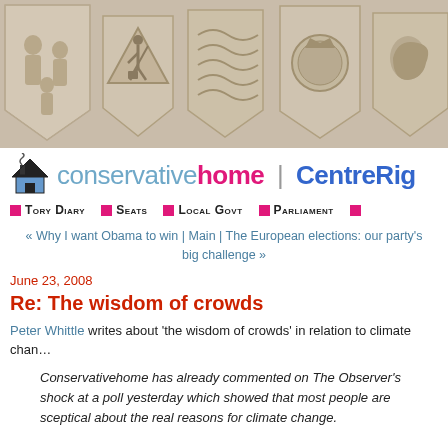[Figure (illustration): Header banner with decorative shield illustrations in beige/tan tones showing various scenes including family, construction worker, abstract shapes, police badge, and more]
conservativehome | CentreRight
TORY DIARY | SEATS | LOCAL GOVT | PARLIAMENT
« Why I want Obama to win | Main | The European elections: our party's big challenge »
June 23, 2008
Re: The wisdom of crowds
Peter Whittle writes about 'the wisdom of crowds' in relation to climate change.
Conservativehome has already commented on The Observer's shock at a poll yesterday which showed that most people are sceptical about the real reasons for climate change.